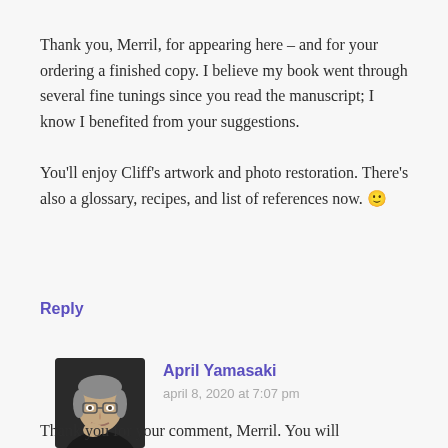Thank you, Merril, for appearing here – and for your ordering a finished copy. I believe my book went through several fine tunings since you read the manuscript; I know I benefited from your suggestions.

You'll enjoy Cliff's artwork and photo restoration. There's also a glossary, recipes, and list of references now. 🙂
Reply
[Figure (photo): Profile photo of April Yamasaki, a woman with gray hair and glasses, resting her chin on her hand, wearing a dark top.]
April Yamasaki
april 8, 2020 at 7:07 pm
Thank you for your comment, Merril. You will